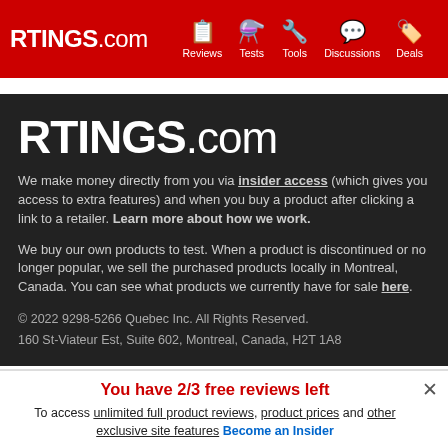RTINGS.com | Reviews | Tests | Tools | Discussions | Deals
RTINGS.com
We make money directly from you via insider access (which gives you access to extra features) and when you buy a product after clicking a link to a retailer. Learn more about how we work.
We buy our own products to test. When a product is discontinued or no longer popular, we sell the purchased products locally in Montreal, Canada. You can see what products we currently have for sale here.
© 2022 9298-5266 Quebec Inc. All Rights Reserved.
160 St-Viateur Est, Suite 602, Montreal, Canada, H2T 1A8
You have 2/3 free reviews left
To access unlimited full product reviews, product prices and other exclusive site features Become an Insider